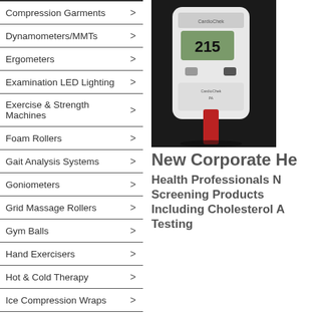Compression Garments >
Dynamometers/MMTs >
Ergometers >
Examination LED Lighting >
Exercise & Strength Machines >
Foam Rollers >
Gait Analysis Systems >
Goniometers >
Grid Massage Rollers >
Gym Balls >
Hand Exercisers >
Hot & Cold Therapy >
Ice Compression Wraps >
Inclinometers >
Kinesiology Tape >
Massage Balls & Rollers >
Pilates Reformers >
Reflex Hammers >
[Figure (photo): CardioChek PA cholesterol testing device, a white handheld medical device showing a reading of 215 on its display, with a red test strip inserted at the bottom, on a dark background.]
New Corporate He... Health Professionals N... Screening Products Including Cholesterol A... Testing